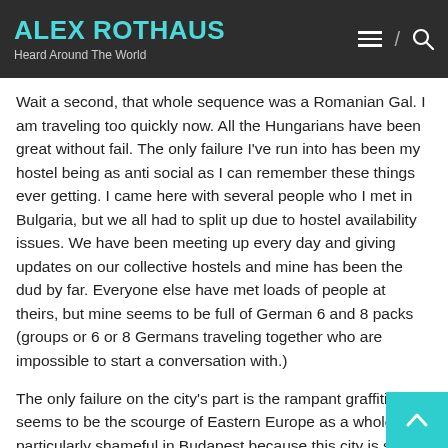ALEX ROTHAUS
Heard Around The World
Wait a second, that whole sequence was a Romanian Gal.  I am traveling too quickly now.  All the Hungarians have been great without fail.  The only failure I've run into has been my hostel being as anti social as I can remember these things ever getting.  I came here with several people who I met in Bulgaria, but we all had to split up due to hostel availability issues.  We have been meeting up every day and giving updates on our collective hostels and mine has been the dud by far.  Everyone else have met loads of people at theirs, but mine seems to be full of German 6 and 8 packs (groups or 6 or 8 Germans traveling together who are impossible to start a conversation with.)
The only failure on the city's part is the rampant graffiti.  It seems to be the scourge of Eastern Europe as a whole, but particularly shameful in Budapest because this city is so strikingly beautiful in so many places.  One place that doesn't have a drop of spray paint on it is the major church in town.  Larger than life, this place